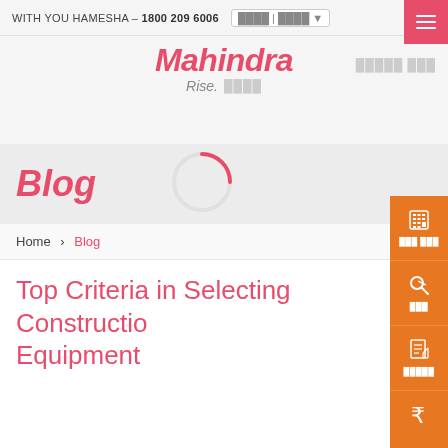WITH YOU HAMESHA - 1800 209 6006
[Figure (logo): Mahindra Rise logo in pink/coral italic text with 'Rise.' tagline below]
Blog
Home > Blog
Top Criteria in Selecting Construction Equipment